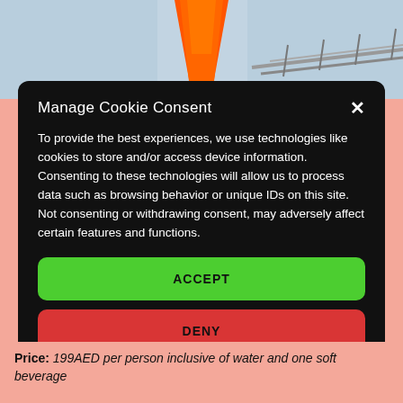[Figure (photo): Partial background photo showing an orange conical shape against a blue-grey sky with a railing structure visible in the lower right. Image is partially obscured by the cookie consent modal.]
Manage Cookie Consent
To provide the best experiences, we use technologies like cookies to store and/or access device information. Consenting to these technologies will allow us to process data such as browsing behavior or unique IDs on this site. Not consenting or withdrawing consent, may adversely affect certain features and functions.
ACCEPT
DENY
VIEW PREFERENCES
Price: 199AED per person inclusive of water and one soft beverage